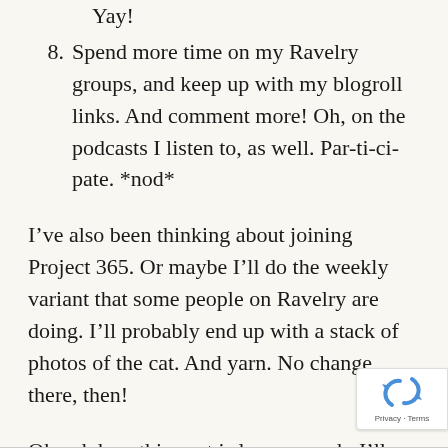Yay!
8. Spend more time on my Ravelry groups, and keep up with my blogroll links. And comment more! Oh, on the podcasts I listen to, as well. Par-ti-ci-pate. *nod*
I’ve also been thinking about joining Project 365. Or maybe I’ll do the weekly variant that some people on Ravelry are doing. I’ll probably end up with a stack of photos of the cat. And yarn. No change there, then!
Okeydokey, this post is long enough. I’ll yatter about my current WIPs (with photos) more tomorrow or some time soon. Time for bed!